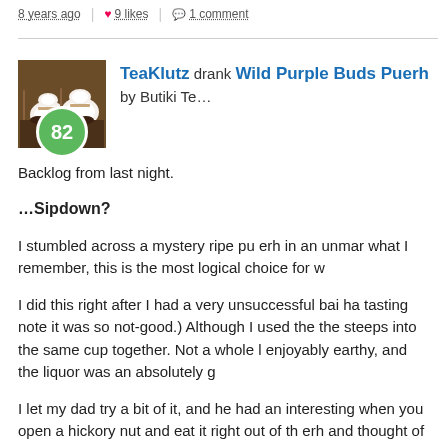8 years ago | 9 likes | 1 comment
TeaKlutz drank Wild Purple Buds Puerh by Butiki Te...
Backlog from last night.
...Sipdown?
I stumbled across a mystery ripe pu erh in an unmar what I remember, this is the most logical choice for w
I did this right after I had a very unsuccessful bai ha tasting note it was so not-good.) Although I used the the steeps into the same cup together. Not a whole l enjoyably earthy, and the liquor was an absolutely g
I let my dad try a bit of it, and he had an interesting when you open a hickory nut and eat it right out of th erh and thought of it as nutty before – maybe that's j I don't think they're very good with subtleties – so th